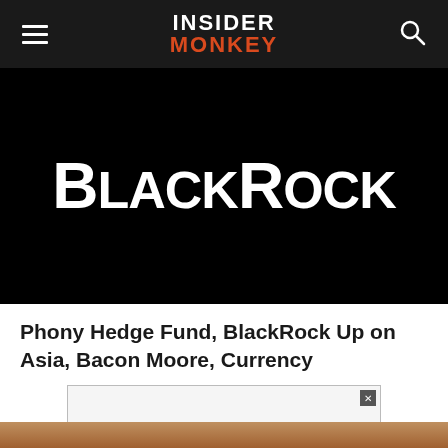INSIDER MONKEY
[Figure (logo): BlackRock logo — white text 'BlackRock' on black background]
Phony Hedge Fund, BlackRock Up on Asia, Bacon Moore, Currency
[Figure (screenshot): Advertisement box with close (x) button in upper right corner]